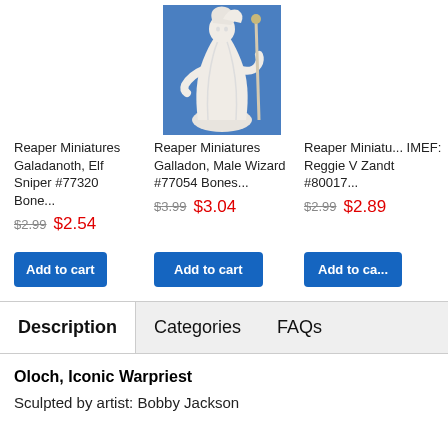[Figure (photo): Reaper Miniatures Galadanoth Elf Sniper product card - no image shown]
Reaper Miniatures Galadanoth, Elf Sniper #77320 Bone...
$2.99  $2.54
[Figure (photo): Reaper Miniatures Galladon Male Wizard miniature figure on blue background]
Reaper Miniatures Galladon, Male Wizard #77054 Bones...
$3.99  $3.04
[Figure (photo): Reaper Miniatures IMEF Reggie V Zandt product card - partially visible]
Reaper Miniatu... IMEF: Reggie V Zandt #80017...
$2.99  $2.89
Add to cart
Add to cart
Add to ca...
Description
Categories
FAQs
Oloch, Iconic Warpriest
Sculpted by artist: Bobby Jackson